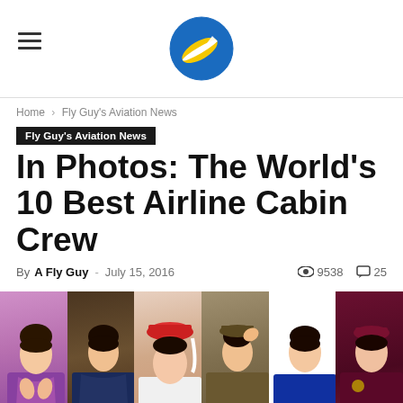Fly Guy's Aviation News — logo and navigation header
Home › Fly Guy's Aviation News
Fly Guy's Aviation News
In Photos: The World's 10 Best Airline Cabin Crew
By A Fly Guy - July 15, 2016   👁 9538   💬 25
[Figure (photo): Collage of six airline cabin crew members in their respective uniforms from various airlines including Thai Airways, Singapore Airlines, Emirates, and Qatar Airways]